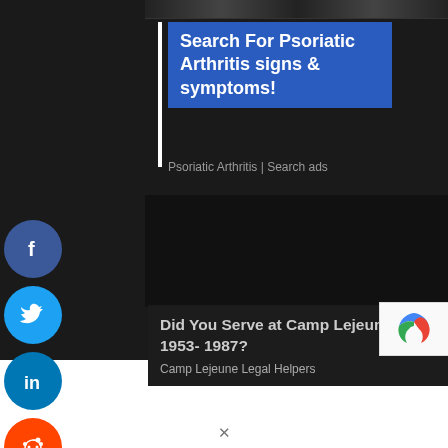[Figure (screenshot): Dark background webpage screenshot with advertisement blocks and social share icons]
Search For Psoriatic Arthritis signs & symptoms!
Psoriatic Arthritis | Search ads
[Figure (infographic): Social media share icons: Facebook, Twitter, LinkedIn, Reddit, Email]
Did You Serve at Camp Lejeune from 1953- 1987?
Camp Lejeune Legal Helpers